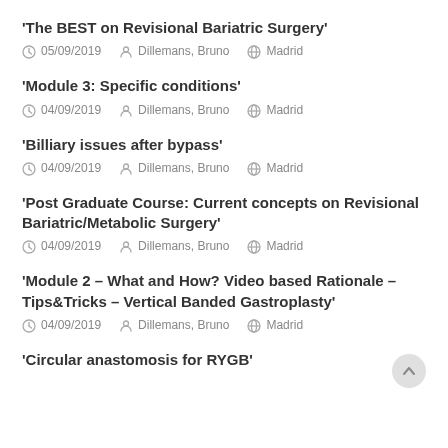'The BEST on Revisional Bariatric Surgery' | 05/09/2019 | Dillemans, Bruno | Madrid
'Module 3: Specific conditions' | 04/09/2019 | Dillemans, Bruno | Madrid
'Billiary issues after bypass' | 04/09/2019 | Dillemans, Bruno | Madrid
'Post Graduate Course: Current concepts on Revisional Bariatric/Metabolic Surgery' | 04/09/2019 | Dillemans, Bruno | Madrid
'Module 2 – What and How? Video based Rationale – Tips&Tricks – Vertical Banded Gastroplasty' | 04/09/2019 | Dillemans, Bruno | Madrid
'Circular anastomosis for RYGB'